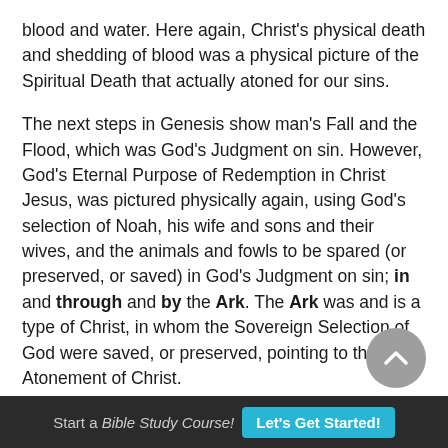blood and water. Here again, Christ's physical death and shedding of blood was a physical picture of the Spiritual Death that actually atoned for our sins.
The next steps in Genesis show man's Fall and the Flood, which was God's Judgment on sin. However, God's Eternal Purpose of Redemption in Christ Jesus, was pictured physically again, using God's selection of Noah, his wife and sons and their wives, and the animals and fowls to be spared (or preserved, or saved) in God's Judgment on sin; in and through and by the Ark. The Ark was and is a type of Christ, in whom the Sovereign Selection of God were saved, or preserved, pointing to the Atonement of Christ.
Start a Bible Study Course! Let's Get Started!